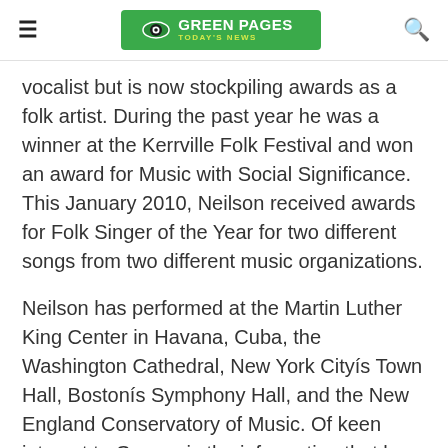GREEN PAGES TODAY'S NEWS
vocalist but is now stockpiling awards as a folk artist. During the past year he was a winner at the Kerrville Folk Festival and won an award for Music with Social Significance. This January 2010, Neilson received awards for Folk Singer of the Year for two different songs from two different music organizations.
Neilson has performed at the Martin Luther King Center in Havana, Cuba, the Washington Cathedral, New York Cityís Town Hall, Bostonís Symphony Hall, and the New England Conservatory of Music. Of keen interest to Greens is the information that he has appeared at hundreds of Green events for